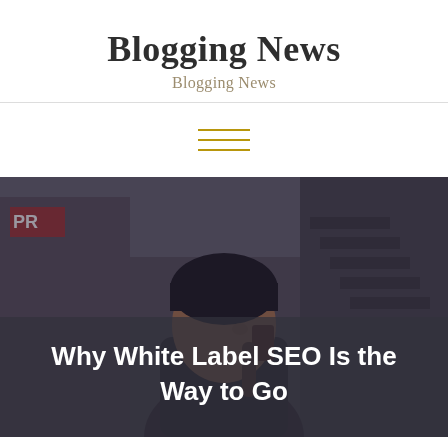Blogging News
Blogging News
[Figure (photo): A person wearing a black beanie hat talking on a smartphone, photographed outdoors on a city street with blurred background showing red signage and stairs. Image has a dark overlay tint.]
Why White Label SEO Is the Way to Go